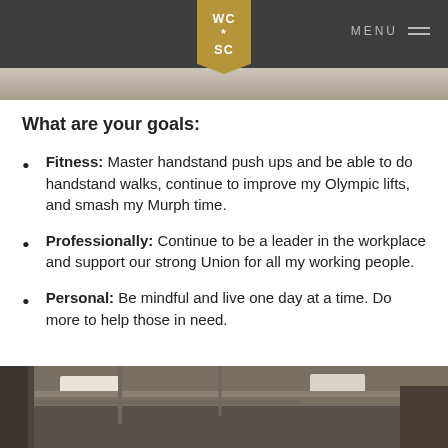WC * SC — MENU
[Figure (photo): Top cropped photo of a person, partially visible]
What are your goals:
Fitness: Master handstand push ups and be able to do handstand walks, continue to improve my Olympic lifts, and smash my Murph time.
Professionally: Continue to be a leader in the workplace and support our strong Union for all my working people.
Personal: Be mindful and live one day at a time. Do more to help those in need.
[Figure (photo): Bottom photo of a gym interior showing ceiling, pipes, and lighting]